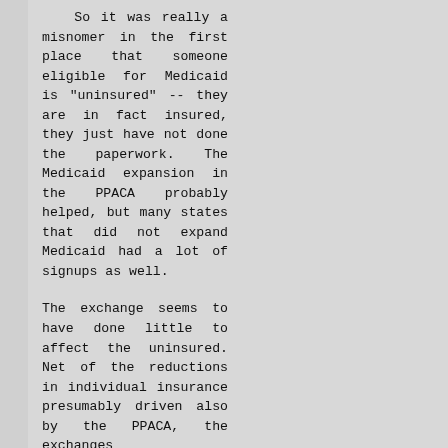So it was really a misnomer in the first place that someone eligible for Medicaid is "uninsured" -- they are in fact insured, they just have not done the paperwork. The Medicaid expansion in the PPACA probably helped, but many states that did not expand Medicaid had a lot of signups as well.
The exchange seems to have done little to affect the uninsured. Net of the reductions in individual insurance presumably driven also by the PPACA, the exchanges